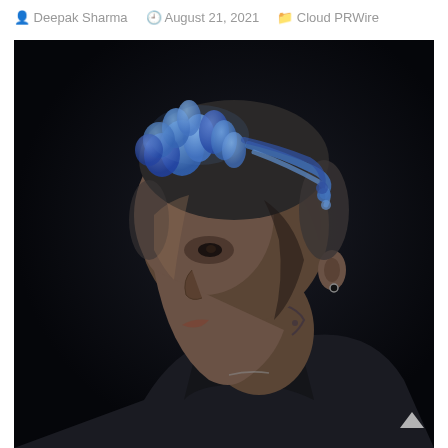Deepak Sharma   August 21, 2021   Cloud PRWire
[Figure (photo): Side profile of a young man with blue dreadlocks/braids, shaved sides, neck tattoo, wearing a dark hoodie, photographed against a dark background with dramatic lighting.]